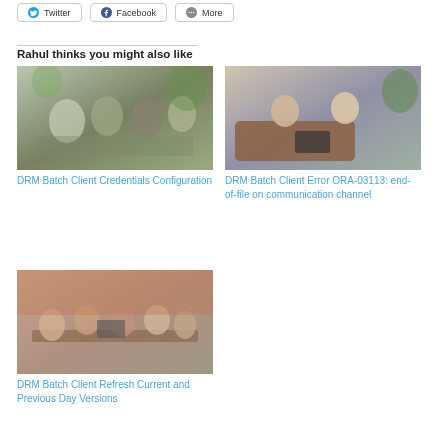Twitter | Facebook | More
Rahul thinks you might also like
[Figure (photo): Group of people collaborating around a table in an office setting with plants]
DRM Batch Client Credentials Configuration
[Figure (photo): Two people sitting on a couch looking at a laptop and notebook]
DRM Batch Client Error ORA-03113: end-of-file on communication channel
[Figure (photo): Group of people sitting around a table in a meeting room]
DRM Batch Client Refresh Current and Previous Day Versions